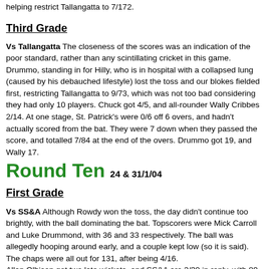helping restrict Tallangatta to 7/172.
Third Grade
Vs Tallangatta The closeness of the scores was an indication of the poor standard, rather than any scintillating cricket in this game. Drummo, standing in for Hilly, who is in hospital with a collapsed lung (caused by his debauched lifestyle) lost the toss and our blokes fielded first, restricting Tallangatta to 9/73, which was not too bad considering they had only 10 players. Chuck got 4/5, and all-rounder Wally Cribbes 2/14. At one stage, St. Patrick's were 0/6 off 6 overs, and hadn't actually scored from the bat. They were 7 down when they passed the score, and totalled 7/84 at the end of the overs. Drummo got 19, and Wally 17.
Round Ten 24 & 31/1/04
First Grade
Vs SS&A Although Rowdy won the toss, the day didn't continue too brightly, with the ball dominating the bat. Topscorers were Mick Carroll and Luke Drummond, with 36 and 33 respectively. The ball was allegedly hooping around early, and a couple kept low (so it is said). The chaps were all out for 131, after being 4/16.
Allan Olbison got two late wickets, and SS&A are 2/30 in reply, with 80 overs to make the requisite runs.
A great effort with the ball, largely (no pun intended) by Heath Naughton